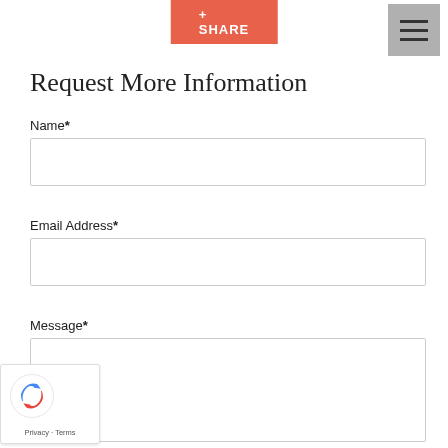[Figure (other): Orange/red Share button with plus sign at top center]
[Figure (other): Gray hamburger menu icon at top right]
Request More Information
Name*
[Figure (other): Empty text input field for Name]
Email Address*
[Figure (other): Empty text input field for Email Address]
Message*
[Figure (other): Empty textarea input field for Message]
[Figure (other): reCAPTCHA badge with logo and Privacy - Terms text]